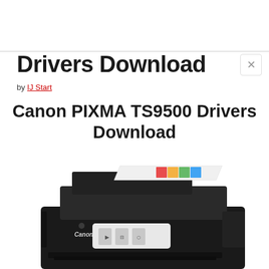Drivers Download
by IJ Start
Canon PIXMA TS9500 Drivers Download
[Figure (photo): Canon PIXMA TS9500 all-in-one inkjet printer shown from a front-angled view with a colorful printed page visible in the automatic document feeder on top, printer is black with a touchscreen control panel]